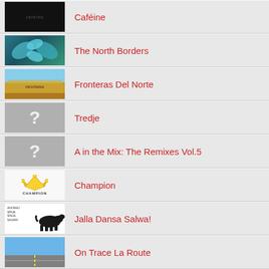Caféine
The North Borders
Fronteras Del Norte
Tredje
A in the Mix: The Remixes Vol.5
Champion
Jalla Dansa Salwa!
On Trace La Route
Largo Camões